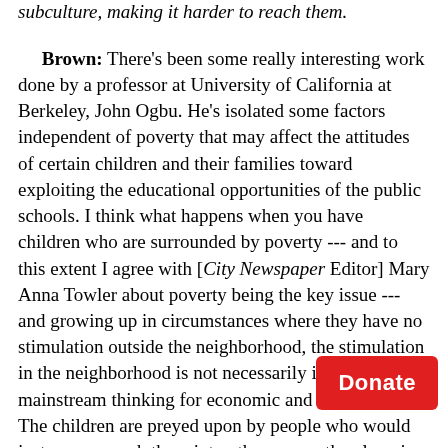subculture, making it harder to reach them.
Brown: There's been some really interesting work done by a professor at University of California at Berkeley, John Ogbu. He's isolated some factors independent of poverty that may affect the attitudes of certain children and their families toward exploiting the educational opportunities of the public schools. I think what happens when you have children who are surrounded by poverty --- and to this extent I agree with [City Newspaper Editor] Mary Anna Towler about poverty being the key issue --- and growing up in circumstances where they have no stimulation outside the neighborhood, the stimulation in the neighborhood is not necessarily in accord with mainstream thinking for economic and social success. The children are preyed upon by people who would just as soon suck them into other arenas than learning. These factors become much more apparent